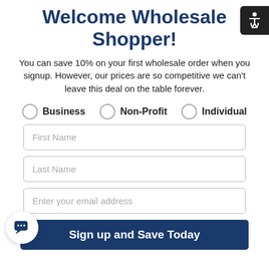Welcome Wholesale Shopper!
You can save 10% on your first wholesale order when you signup. However, our prices are so competitive we can't leave this deal on the table forever.
Business
Non-Profit
Individual
First Name
Last Name
Enter your email address
Sign up and Save Today